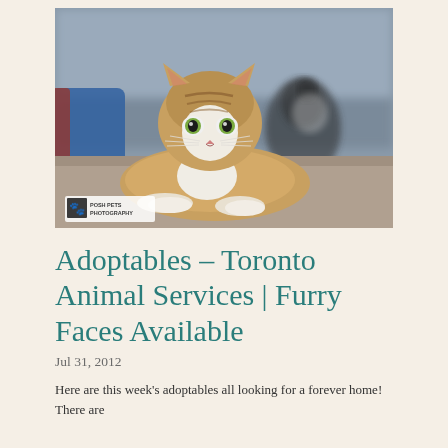[Figure (photo): A tabby and white cat lying on a floor looking directly at the camera, with a black and white cat blurred in the background. A 'Posh Pets Photography' watermark logo appears in the lower left corner of the photo.]
Adoptables – Toronto Animal Services | Furry Faces Available
Jul 31, 2012
Here are this week's adoptables all looking for a forever home! There are